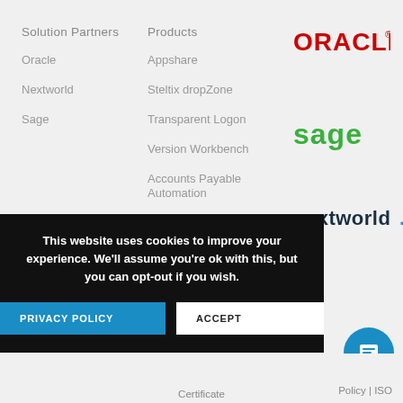Solution Partners
Products
Oracle
Appshare
[Figure (logo): Oracle logo in red text on white background]
Nextworld
Steltix dropZone
[Figure (logo): Sage logo in green text]
Sage
Transparent Logon
Version Workbench
[Figure (logo): nextworld logo in dark teal/black text]
Accounts Payable Automation
This website uses cookies to improve your experience. We'll assume you're ok with this, but you can opt-out if you wish.
PRIVACY POLICY
ACCEPT
Policy | ISO
Certificate